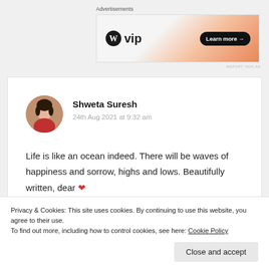Advertisements
[Figure (screenshot): WordPress VIP advertisement banner with logo and 'Learn more →' button]
REPORT THIS AD
Shweta Suresh
24th Aug 2021 at 9:32 am
[Figure (photo): Circular avatar photo of Shweta Suresh]
Life is like an ocean indeed. There will be waves of happiness and sorrow, highs and lows. Beautifully written, dear ❤
Privacy & Cookies: This site uses cookies. By continuing to use this website, you agree to their use.
To find out more, including how to control cookies, see here: Cookie Policy
Close and accept